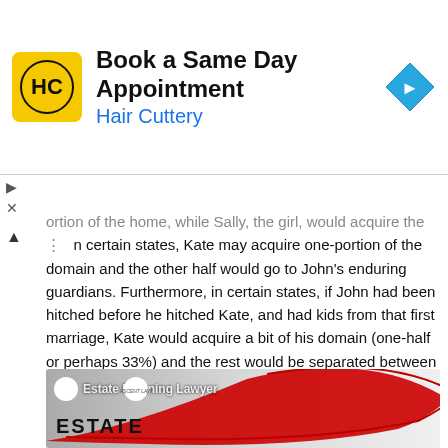[Figure (screenshot): Advertisement banner for Hair Cuttery: 'Book a Same Day Appointment' with HC logo and navigation arrow icon]
ortion of the home, while Sally, the girl, would acquire the ... In certain states, Kate may acquire one-portion of the domain and the other half would go to John's enduring guardians. Furthermore, in certain states, if John had been hitched before he hitched Kate, and had kids from that first marriage, Kate would acquire a bit of his domain (one-half or perhaps 33%) and the rest would be separated between his kids from the two relational unions. Utah State likewise vary by the way they gap up property among the enduring heirs. In the event that an individual who might be qualified for acquire has passed on before the decedent, that individual's relatives will acquire that share.
[Figure (screenshot): Video thumbnail for Estate Planning Lawyer video with red swoosh design and 'ESTATE' text]